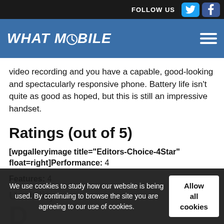FOLLOW US
WHAT MOBILE
video recording and you have a capable, good-looking and spectacularly responsive phone. Battery life isn't quite as good as hoped, but this is still an impressive handset.
Ratings (out of 5)
[wpgalleryimage title="Editors-Choice-4Star" float=right]Performance: 4
Features: 4
Usability:
We use cookies to study how our website is being used. By continuing to browse the site you are agreeing to our use of cookies.
Reviewed by Tom Bedley